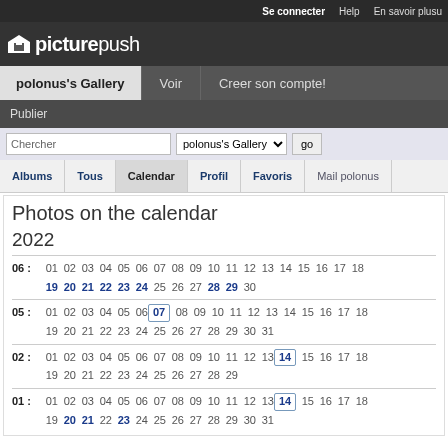Se connecter  Help  En savoir plusu
picturepush
polonus's Gallery  Voir  Creer son compte!
Publier
Chercher  polonus's Gallery  go
Albums  Tous  Calendar  Profil  Favoris  Mail polonus
Photos on the calendar
2022
| Month | Days |
| --- | --- |
| 06: | 01 02 03 04 05 06 07 08 09 10 11 12 13 14 15 16 17 18 |
|  | 19 20 21 22 23 24 25 26 27 28 29 30 |
| 05: | 01 02 03 04 05 06 07 08 09 10 11 12 13 14 15 16 17 18 |
|  | 19 20 21 22 23 24 25 26 27 28 29 30 31 |
| 02: | 01 02 03 04 05 06 07 08 09 10 11 12 13 14 15 16 17 18 |
|  | 19 20 21 22 23 24 25 26 27 28 29 |
| 01: | 01 02 03 04 05 06 07 08 09 10 11 12 13 14 15 16 17 18 |
|  | 19 20 21 22 23 24 25 26 27 28 29 30 31 |